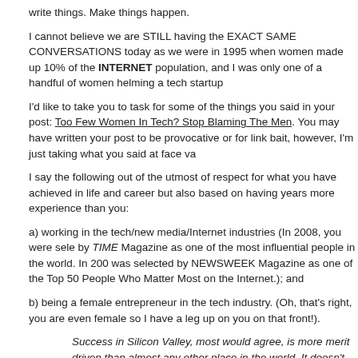write things. Make things happen.
I cannot believe we are STILL having the EXACT SAME CONVERSATIONS today as we were in 1995 when women made up 10% of the INTERNET population, and I was only one of a handful of women helming a tech startup
I'd like to take you to task for some of the things you said in your post: Too Few Women In Tech? Stop Blaming The Men. You may have written your post to be provocative or for link bait, however, I'm just taking what you said at face va
I say the following out of the utmost of respect for what you have achieved in life and career but also based on having years more experience than you:
a) working in the tech/new media/Internet industries (In 2008, you were selected by TIME Magazine as one of the most influential people in the world. In 2009, was selected by NEWSWEEK Magazine as one of the Top 50 People Who Matter Most on the Internet.); and
b) being a female entrepreneur in the tech industry. (Oh, that's right, you are even female so I have a leg up on you on that front!).
Success in Silicon Valley, most would agree, is more merit driven than almost any other place in the world. It doesn't matter how old you are, what sex you are, what politics you support or what color you are. If your idea rocks and you can execute, you can change the world and/or get really, stinking rich.